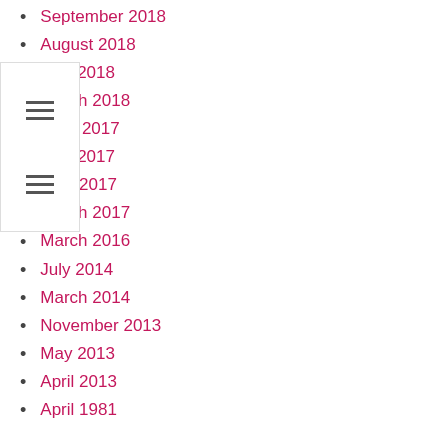September 2018
August 2018
May 2018
March 2018
June 2017
May 2017
April 2017
March 2017
March 2016
July 2014
March 2014
November 2013
May 2013
April 2013
April 1981